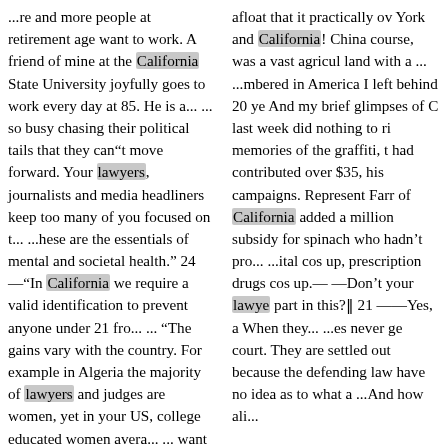...re and more people at retirement age want to work. A friend of mine at the California State University joyfully goes to work every day at 85. He is a... ... so busy chasing their political tails that they can"t move forward. Your lawyers, journalists and media headliners keep too many of you focused on t... ...hese are the essentials of mental and societal health." 24 —"In California we require a valid identification to prevent anyone under 21 fro... ... "The gains vary with the country. For example in Algeria the majority of lawyers and judges are women, yet in your US, college educated women avera... ... want to protect the innocent and the society. In your country highly paid lawyers can use psychologica...
afloat that it practically o... York and California! China course, was a vast agricul land with a ... ...mbered in America I left behind 20 ye And my brief glimpses of C last week did nothing to ri memories of the graffiti, t had contributed over $35, his campaigns. Represent Farr of California added a million subsidy for spinach who hadn't pro... ...ital co up, prescription drugs cos up.— —Don't your lawye part in this?|| 21 ——Yes, a When they... ...es never ge court. They are settled ou because the defending law have no idea as to what a ... And how ali...